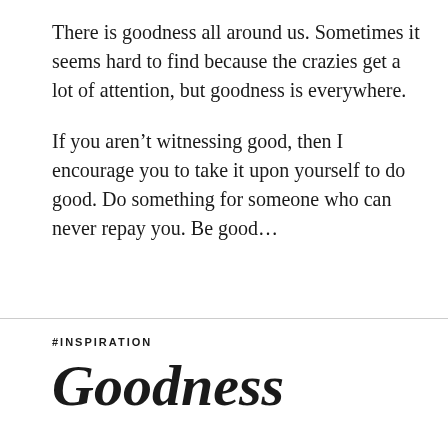There is goodness all around us. Sometimes it seems hard to find because the crazies get a lot of attention, but goodness is everywhere.
If you aren't witnessing good, then I encourage you to take it upon yourself to do good. Do something for someone who can never repay you. Be good…
#INSPIRATION
Goodness